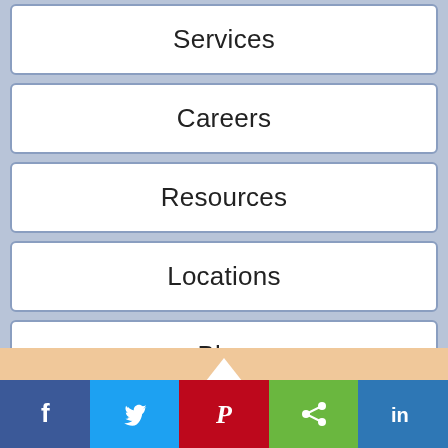Services
Careers
Resources
Locations
Blog
Contact Us
[Figure (infographic): Social media sharing buttons: Facebook, Twitter, Pinterest, Share, LinkedIn]
Facebook Twitter Pinterest Share LinkedIn